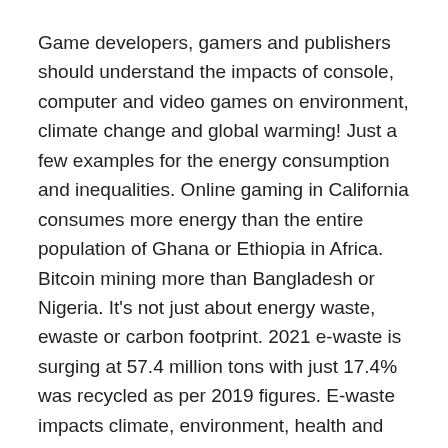Game developers, gamers and publishers should understand the impacts of console, computer and video games on environment, climate change and global warming! Just a few examples for the energy consumption and inequalities. Online gaming in California consumes more energy than the entire population of Ghana or Ethiopia in Africa. Bitcoin mining more than Bangladesh or Nigeria. It's not just about energy waste, ewaste or carbon footprint. 2021 e-waste is surging at 57.4 million tons with just 17.4% was recycled as per 2019 figures. E-waste impacts climate, environment, health and global warming. E-waste recycling emits emerging synthetic antioxidants. Recycling ewaste requires energy, resources, tech and IT again!
The video game industry is partwise responsible for generating mountains of toxic e-waste and plastics that